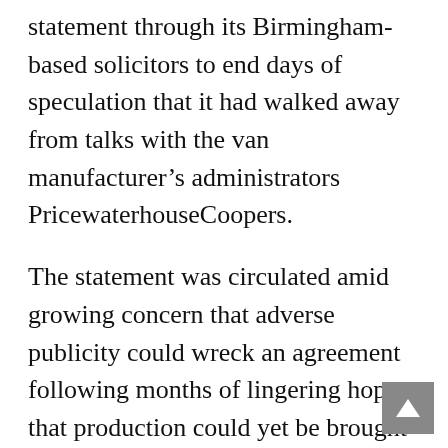statement through its Birmingham-based solicitors to end days of speculation that it had walked away from talks with the van manufacturer's administrators PricewaterhouseCoopers.
The statement was circulated amid growing concern that adverse publicity could wreck an agreement following months of lingering hopes that production could yet be brought back from the dead at the Washwood Heath factory.
The statement said: ‘Due to numerous reports in the last 24 hours, Weststar wish